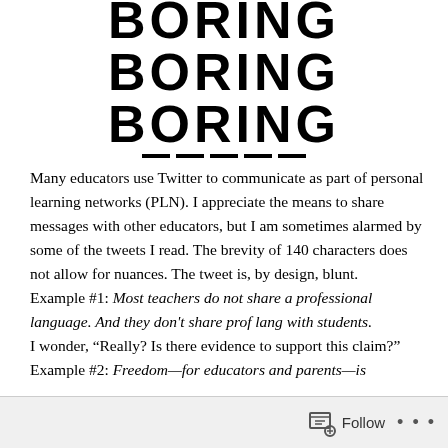BORING BORING BORING
Many educators use Twitter to communicate as part of personal learning networks (PLN). I appreciate the means to share messages with other educators, but I am sometimes alarmed by some of the tweets I read. The brevity of 140 characters does not allow for nuances. The tweet is, by design, blunt.
    Example #1: Most teachers do not share a professional language. And they don't share prof lang with students.
I wonder, “Really? Is there evidence to support this claim?"
    Example #2: Freedom—for educators and parents—is
Follow  •••